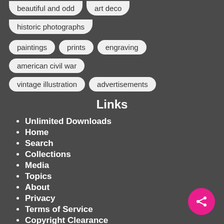beautiful and odd
art deco
historic photographs
paintings
prints
engraving
american civil war
vintage illustration
advertisements
Links
Unlimited Downloads
Home
Search
Collections
Media
Topics
About
Privacy
Terms of Service
Copyright Clearance
Plans
Sitemap
Support us